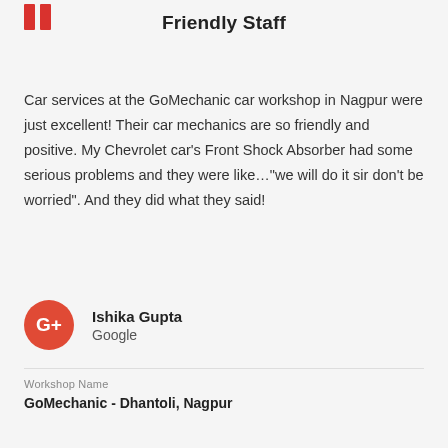[Figure (logo): Two red vertical bars forming a quotation mark graphic]
Friendly Staff
Car services at the GoMechanic car workshop in Nagpur were just excellent! Their car mechanics are so friendly and positive. My Chevrolet car's Front Shock Absorber had some serious problems and they were like..."we will do it sir don't be worried". And they did what they said!
Ishika Gupta
Google
Workshop Name
GoMechanic - Dhantoli, Nagpur